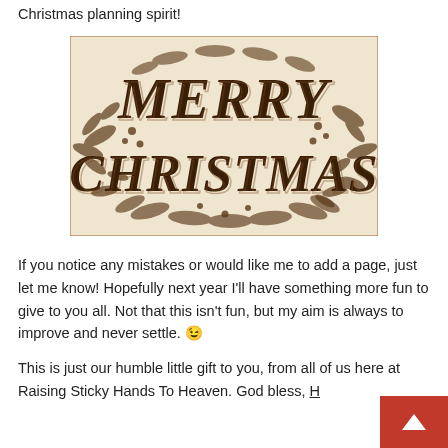Christmas planning spirit!
[Figure (illustration): Vintage sepia-toned 'Merry Christmas' decorative illustration with ornate lettering surrounded by floral and botanical designs]
If you notice any mistakes or would like me to add a page, just let me know! Hopefully next year I'll have something more fun to give to you all. Not that this isn't fun, but my aim is always to improve and never settle. 😉
This is just our humble little gift to you, from all of us here at Raising Sticky Hands To Heaven. God bless, H